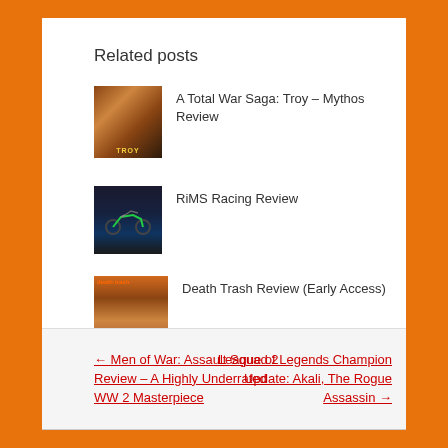Related posts
A Total War Saga: Troy – Mythos Review
RiMS Racing Review
Death Trash Review (Early Access)
← Men of War: Assault Squad 2 Review – A Highly Underrated WW 2 Masterpiece
League of Legends Champion Update: Akali, The Rogue Assassin →